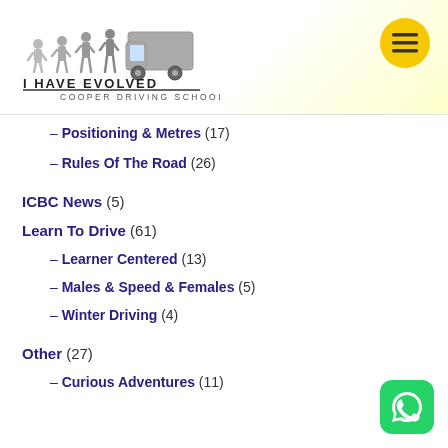[Figure (logo): I Have Evolved Cooper Driving School logo with evolution silhouettes and truck]
– Positioning & Metres (17)
– Rules Of The Road (26)
ICBC News (5)
Learn To Drive (61)
– Learner Centered (13)
– Males & Speed & Females (5)
– Winter Driving (4)
Other (27)
– Curious Adventures (11)